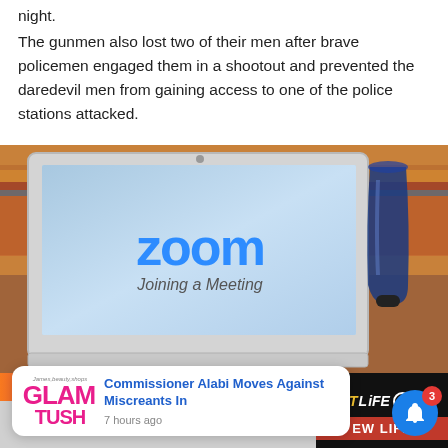night.
The gunmen also lost two of their men after brave policemen engaged them in a shootout and prevented the daredevil men from gaining access to one of the police stations attacked.
[Figure (photo): Laptop computer displaying Zoom 'Joining a Meeting' screen, placed on a wooden table with a colorful rug and a blue glass cup to the right]
[Figure (screenshot): News notification popup from GlamTush showing 'Commissioner Alabi Moves Against Miscreants In' headline posted 7 hours ago, with BitLife advertisement and notification bell badge showing 3]
Commissioner Alabi Moves Against Miscreants In
7 hours ago